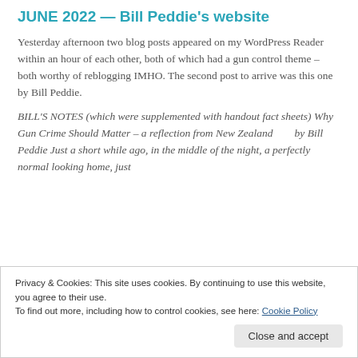JUNE 2022 — Bill Peddie's website
Yesterday afternoon two blog posts appeared on my WordPress Reader within an hour of each other, both of which had a gun control theme – both worthy of reblogging IMHO. The second post to arrive was this one by Bill Peddie.
BILL'S NOTES (which were supplemented with handout fact sheets) Why Gun Crime Should Matter – a reflection from New Zealand      by Bill Peddie Just a short while ago, in the middle of the night, a perfectly normal looking home, just
Privacy & Cookies: This site uses cookies. By continuing to use this website, you agree to their use.
To find out more, including how to control cookies, see here: Cookie Policy
Close and accept